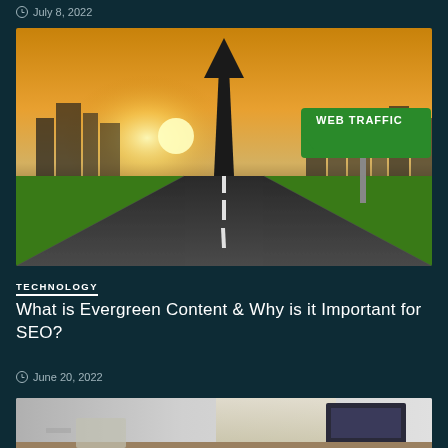July 8, 2022
[Figure (photo): Road stretching upward into an arrow shape pointing to the sky, with a green WEB TRAFFIC road sign on the right, city skyline in the background, green grass, golden sky]
TECHNOLOGY
What is Evergreen Content & Why is it Important for SEO?
June 20, 2022
[Figure (photo): Partial view of a desk with a computer monitor, light coming through a window in the background]